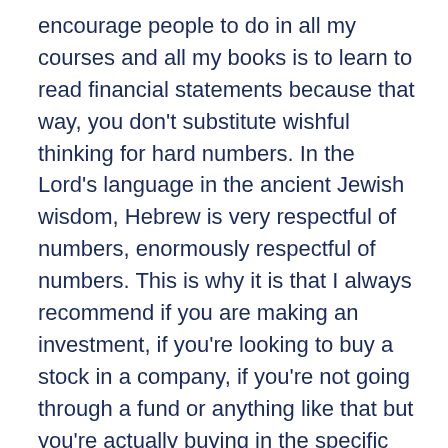encourage people to do in all my courses and all my books is to learn to read financial statements because that way, you don't substitute wishful thinking for hard numbers. In the Lord's language in the ancient Jewish wisdom, Hebrew is very respectful of numbers, enormously respectful of numbers. This is why it is that I always recommend if you are making an investment, if you're looking to buy a stock in a company, if you're not going through a fund or anything like that but you're actually buying in the specific company, obviously you're gonna get hold of a couple of years of financial reports of the company. If you read a financial report that's heavy on words or has one set of numbers at the back of the book and that's it, run for your life. I want a financial report that's short on the story, heavy on